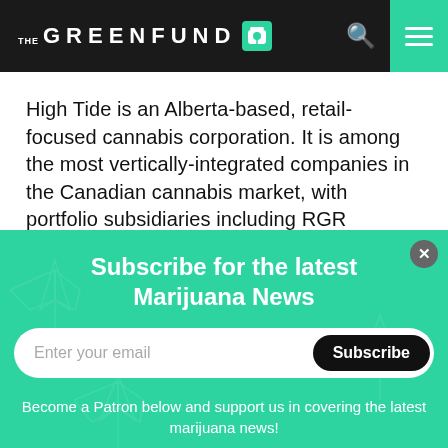[Figure (logo): The Green Fund logo — white text on dark background with cannabis leaf icon, search icon, and teal hamburger menu button]
High Tide is an Alberta-based, retail-focused cannabis corporation. It is among the most vertically-integrated companies in the Canadian cannabis market, with portfolio subsidiaries including RGR Canada Inc., Smoker's Corner Ltd.,
Subscribe for the latest Marijuana News
Enter your email
Subscribe
Become a Patron below and support us in covering the latest marijuana news!
Become a patron